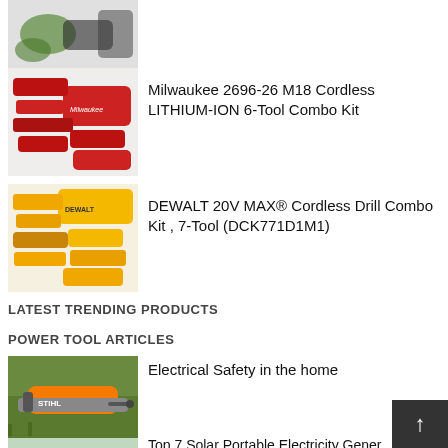[Figure (photo): Partial top image of cordless tools (green/black) - cropped at top]
[Figure (photo): Milwaukee 2696-26 M18 Cordless combo kit with red tools and bag]
Milwaukee 2696-26 M18 Cordless LITHIUM-ION 6-Tool Combo Kit
[Figure (photo): DEWALT 20V MAX Cordless Drill Combo Kit with yellow tools]
DEWALT 20V MAX® Cordless Drill Combo Kit , 7-Tool (DCK771D1M1)
LATEST TRENDING PRODUCTS
POWER TOOL ARTICLES
[Figure (photo): Chainsaw (Stihl) on grass - article image]
Electrical Safety in the home
[Figure (photo): Partial image of tool at bottom - cropped]
Top 7 Solar Portable Electricity Gener…